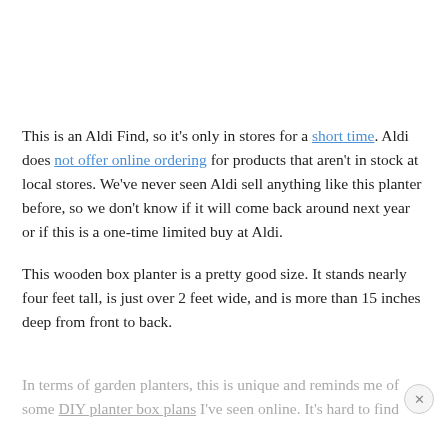This is an Aldi Find, so it's only in stores for a short time. Aldi does not offer online ordering for products that aren't in stock at local stores. We've never seen Aldi sell anything like this planter before, so we don't know if it will come back around next year or if this is a one-time limited buy at Aldi.
This wooden box planter is a pretty good size. It stands nearly four feet tall, is just over 2 feet wide, and is more than 15 inches deep from front to back.
In terms of garden planters, this is unique and reminds me of some DIY planter box plans I've seen online. It's hard to find